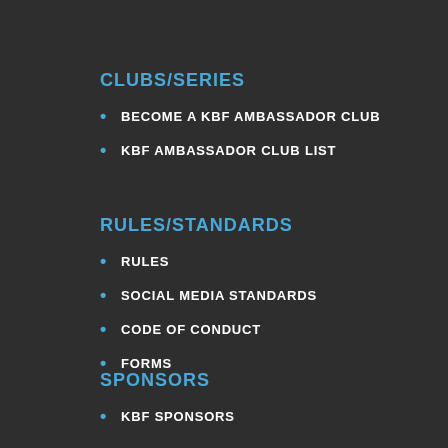CLUBS/SERIES
BECOME A KBF AMBASSADOR CLUB
KBF AMBASSADOR CLUB LIST
RULES/STANDARDS
RULES
SOCIAL MEDIA STANDARDS
CODE OF CONDUCT
FORMS
SPONSORS
KBF SPONSORS